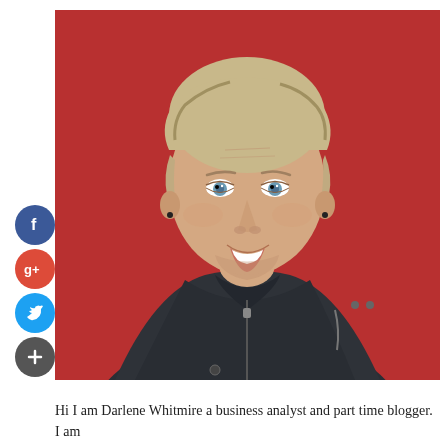[Figure (photo): Portrait photograph of a middle-aged woman with short blonde/grey hair and blue eyes, smiling, wearing a dark grey zip-up jacket, posed against a red background. Social media share buttons (Facebook, Google+, Twitter, and a plus/share button) are overlaid on the left side.]
Hi I am Darlene Whitmire a business analyst and part time blogger. I am